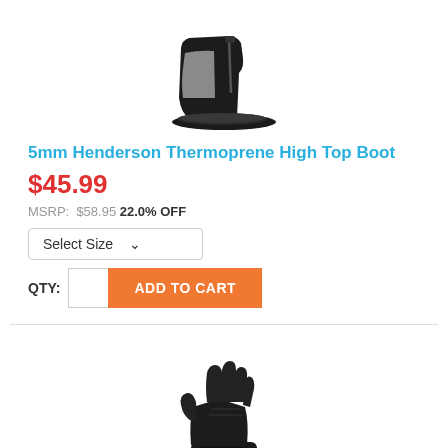[Figure (photo): Black and gray neoprene high top diving boot with zipper closure]
5mm Henderson Thermoprene High Top Boot
$45.99
MSRP: $58.95 22.0% OFF
Select Size
QTY: ADD TO CART
[Figure (photo): Black neoprene diving glove with five fingers]